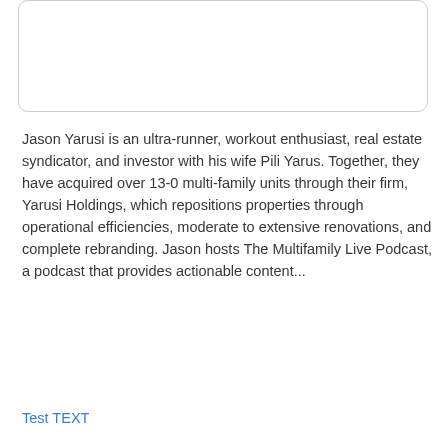[Figure (other): A rounded rectangle card/box with border, partially visible at top of page]
Jason Yarusi is an ultra-runner, workout enthusiast, real estate syndicator, and investor with his wife Pili Yarus. Together, they have acquired over 13-0 multi-family units through their firm, Yarusi Holdings, which repositions properties through operational efficiencies, moderate to extensive renovations, and complete rebranding. Jason hosts The Multifamily Live Podcast, a podcast that provides actionable content...
Test TEXT